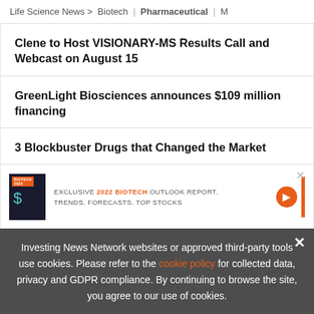Life Science News > Biotech | Pharmaceutical | M
Clene to Host VISIONARY-MS Results Call and Webcast on August 15
GreenLight Biosciences announces $109 million financing
3 Blockbuster Drugs that Changed the Market
[Figure (infographic): Advertisement banner: EXCLUSIVE 2022 BIOTECH OUTLOOK REPORT. TRENDS. FORECASTS. TOP STOCKS. With orange arrow button and vertical orange bar. Close X in top right.]
Investing News Network websites or approved third-party tools use cookies. Please refer to the cookie policy for collected data, privacy and GDPR compliance. By continuing to browse the site, you agree to our use of cookies.